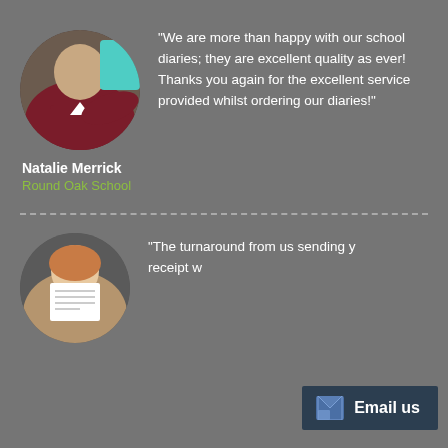[Figure (photo): Circular photo of a school student in uniform sitting at a desk, smiling]
“We are more than happy with our school diaries; they are excellent quality as ever! Thanks you again for the excellent service provided whilst ordering our diaries!”
Natalie Merrick
Round Oak School
[Figure (photo): Circular photo of a smiling woman reading a document or book]
“The turnaround from us sending y... receipt w...
Email us